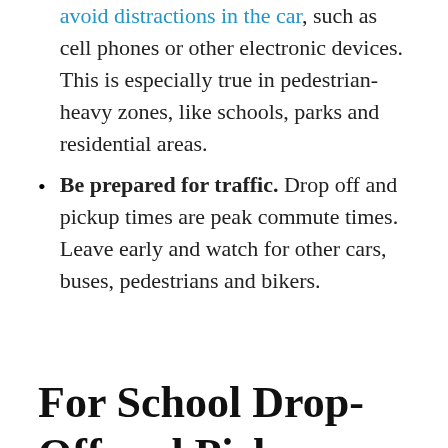avoid distractions in the car, such as cell phones or other electronic devices. This is especially true in pedestrian-heavy zones, like schools, parks and residential areas.
Be prepared for traffic. Drop off and pickup times are peak commute times. Leave early and watch for other cars, buses, pedestrians and bikers.
For School Drop-Off and Pickup Lanes
Don't double park. All parents are eager to get in and out but double parking blocks visibility